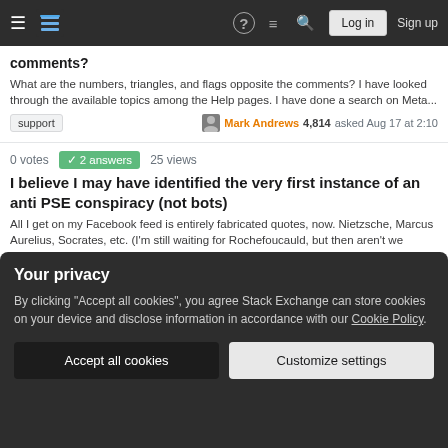Stack Exchange navigation bar with Log in and Sign up buttons
comments?
What are the numbers, triangles, and flags opposite the comments? I have looked through the available topics among the Help pages. I have done a search on Meta...
support  Mark Andrews 4,814 asked Aug 17 at 2:10
0 votes  2 answers  25 views
I believe I may have identified the very first instance of an anti PSE conspiracy (not bots)
All I get on my Facebook feed is entirely fabricated quotes, now. Nietzsche, Marcus Aurelius, Socrates, etc. (I'm still waiting for Rochefoucauld, but then aren't we all...)...
discussion  user62133 asked Aug 16 at 13:49
Your privacy
By clicking "Accept all cookies", you agree Stack Exchange can store cookies on your device and disclose information in accordance with our Cookie Policy.
Accept all cookies  Customize settings